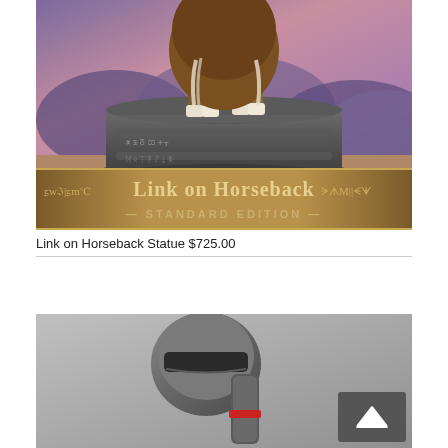[Figure (photo): Link on Horseback statue product photo showing a detailed brown horse with white hooves on a stone pedestal, with a fantasy mountain landscape background. A banner reads 'Link on Horseback - Standard Edition'.]
Link on Horseback Statue $725.00
[Figure (photo): Partial product photo showing a metallic/robot-like figure or weapon prop, with a dark grey background. A back-to-top button (dark square with upward chevron) is visible in the bottom right of the image.]